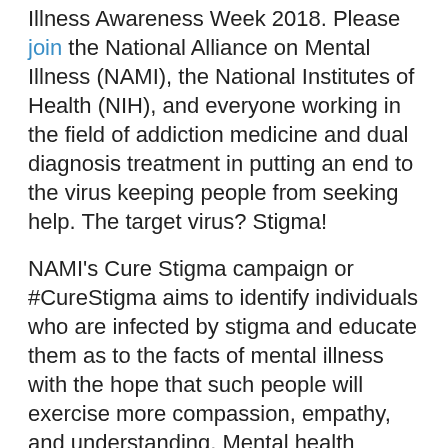Illness Awareness Week 2018. Please join the National Alliance on Mental Illness (NAMI), the National Institutes of Health (NIH), and everyone working in the field of addiction medicine and dual diagnosis treatment in putting an end to the virus keeping people from seeking help. The target virus? Stigma!
NAMI's Cure Stigma campaign or #CureStigma aims to identify individuals who are infected by stigma and educate them as to the facts of mental illness with the hope that such people will exercise more compassion, empathy, and understanding. Mental health disorders are far too prevalent to be treated as anything but the severe health conditions that they are; such issues are not moral failings or the fault of anyone. However, unlike other serious medical problems, much of society looks at mental illness through a distorted lens.
Most Americans are unaware that 1 in 5 Americans lives with mental illness and that nearly 60 percent of those individuals have never sought treatment. Far too many people consider alcohol and substance use disorders as being the result of